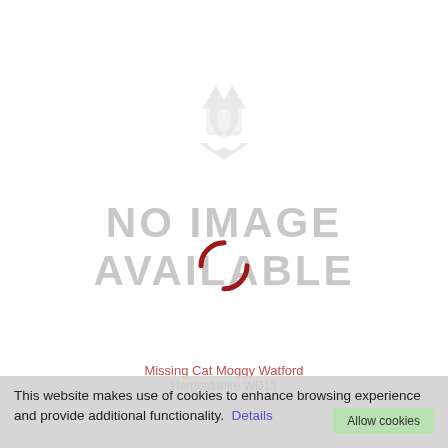[Figure (illustration): No image available placeholder graphic with a faded grey recycling/loading arrow icon at the top center and large grey text reading 'NO IMAGE AVAILABLE' with a red partial circle spinner overlay on the text.]
Missing Cat Moggy Watford
Hertfordshire WD13
This website makes use of cookies to enhance browsing experience and provide additional functionality.  Details  Allow cookies